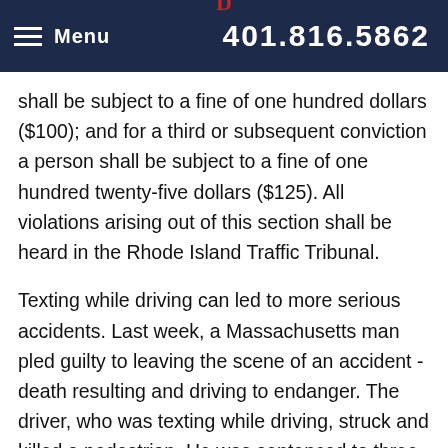Menu  401.816.5862
shall be subject to a fine of one hundred dollars ($100); and for a third or subsequent conviction a person shall be subject to a fine of one hundred twenty-five dollars ($125). All violations arising out of this section shall be heard in the Rhode Island Traffic Tribunal.
Texting while driving can led to more serious accidents. Last week, a Massachusetts man pled guilty to leaving the scene of an accident - death resulting and driving to endanger. The driver, who was texting while driving, struck and killed a pedestrian. He was sentenced to three (3) years in